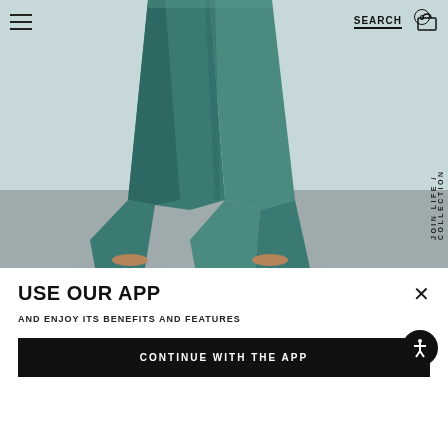[Figure (photo): Person wearing teal/green wide-leg trousers, lower body visible, light gray background]
SEARCH | 0 (cart)
USE OUR APP
AND ENJOY ITS BENEFITS AND FEATURES
CONTINUE WITH THE APP